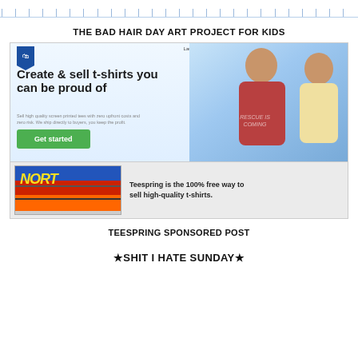[ruler/tick marks at top]
THE BAD HAIR DAY ART PROJECT FOR KIDS
[Figure (screenshot): Screenshot of Teespring website homepage showing navigation links (Launch a new campaign, Are you a non profit?, How it works, Log In), a Teespring logo (blue banner with shopping bag), large headline 'Create & sell t-shirts you can be proud of', subtext 'Sell high quality screen printed tees with zero upfront costs and zero risk. We ship directly to buyers, you keep the profit.', a green 'Get started' button, and photo of two people wearing custom t-shirts on a blue gradient background.]
[Figure (screenshot): Bottom section of Teespring webpage showing a stack of colorful t-shirts on the left with 'NORT...' text visible, and text on the right reading 'Teespring is the 100% free way to sell high-quality t-shirts.']
TEESPRING SPONSORED POST
★SHIT I HATE SUNDAY★